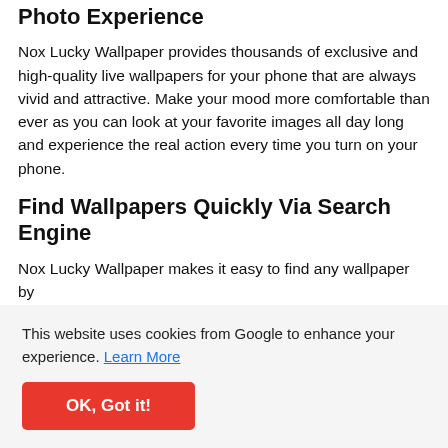Photo Experience
Nox Lucky Wallpaper provides thousands of exclusive and high-quality live wallpapers for your phone that are always vivid and attractive. Make your mood more comfortable than ever as you can look at your favorite images all day long and experience the real action every time you turn on your phone.
Find Wallpapers Quickly Via Search Engine
Nox Lucky Wallpaper makes it easy to find any wallpaper by
This website uses cookies from Google to enhance your experience. Learn More
OK, Got it!